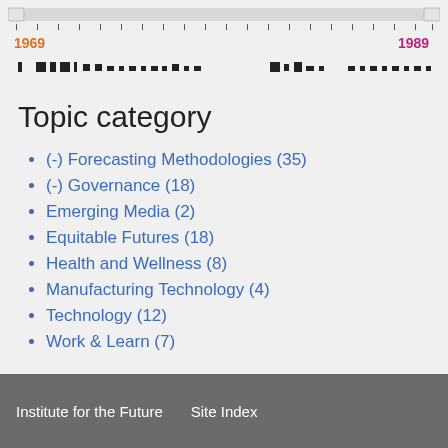[Figure (other): Timeline range slider with handles at left (1969) and right (1989), tick marks, and activity bars showing publication frequency across years]
Topic category
(-) Forecasting Methodologies (35)
(-) Governance (18)
Emerging Media (2)
Equitable Futures (18)
Health and Wellness (8)
Manufacturing Technology (4)
Technology (12)
Work & Learn (7)
Institute for the Future    Site Index